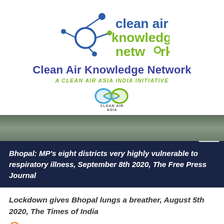[Figure (logo): Clean Air Knowledge Network logo with network node graphic and text 'clean air knowledge network' in blue and green]
Clean Air Knowledge Network
A CLEAN AIR ASIA INDIA INITIATIVE
[Figure (logo): Clean Air Asia logo with infinity-shaped cloud graphic and text 'CLEAN AIR ASIA']
Bhopal: MP's eight districts very highly vulnerable to respiratory illness, September 8th 2020, The Free Press Journal
Lockdown gives Bhopal lungs a breather, August 5th 2020, The Times of India
Read More